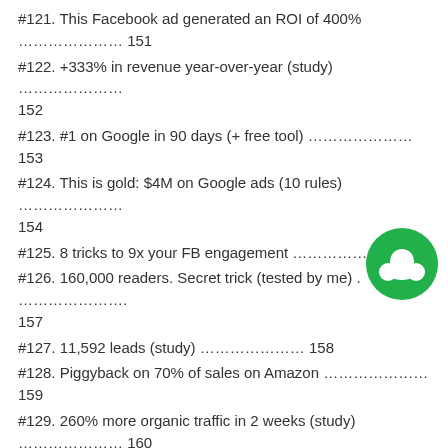#121. This Facebook ad generated an ROI of 400% ………………… 151
#122. +333% in revenue year-over-year (study) ………………… 152
#123. #1 on Google in 90 days (+ free tool) ………………… 153
#124. This is gold: $4M on Google ads (10 rules) ………………… 154
#125. 8 tricks to 9x your FB engagement ………………… 155
#126. 160,000 readers. Secret trick (tested by me) ………………… 157
#127. 11,592 leads (study) ………………… 158
#128. Piggyback on 70% of sales on Amazon ………………… 159
#129. 260% more organic traffic in 2 weeks (study) ………………… 160
#130. +64% more clicks (8 steps) ………………… 161
#131. Get a piece of Billion views (infographic) ………………… 162